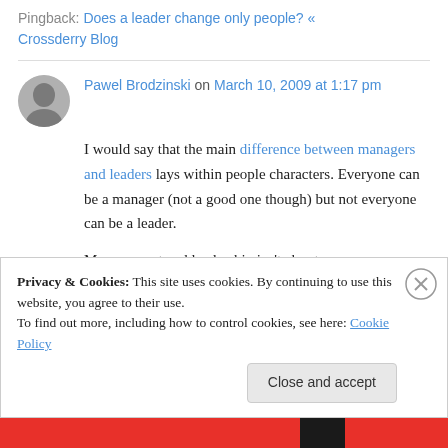Pingback: Does a leader change only people? « Crossderry Blog
Pawel Brodzinski on March 10, 2009 at 1:17 pm
I would say that the main difference between managers and leaders lays within people characters. Everyone can be a manager (not a good one though) but not everyone can be a leader.
Management and leadership isn't about
Privacy & Cookies: This site uses cookies. By continuing to use this website, you agree to their use. To find out more, including how to control cookies, see here: Cookie Policy
Close and accept